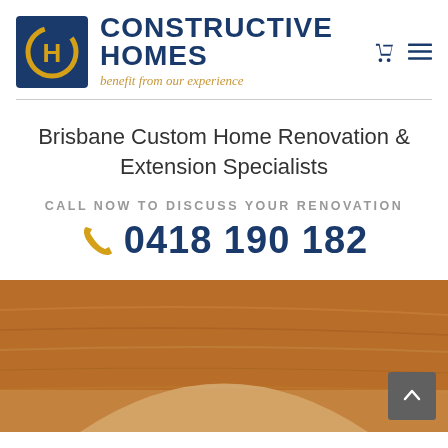[Figure (logo): Constructive Homes logo: dark navy square with gold CH letters, company name in bold navy uppercase, tagline in gold italic cursive 'benefit from our experience']
Brisbane Custom Home Renovation & Extension Specialists
CALL NOW TO DISCUSS YOUR RENOVATION
0418 190 182
[Figure (photo): Photo of a wooden arched doorway or room feature with warm brown timber tones]